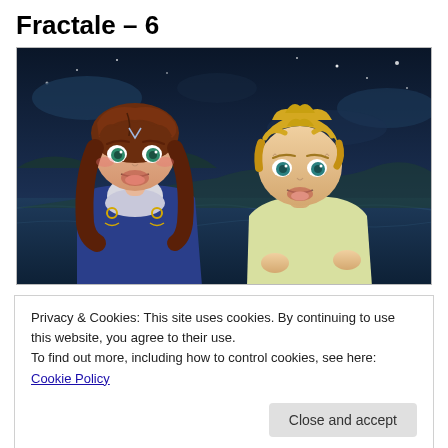Fractale – 6
[Figure (illustration): Anime screenshot from Fractale episode 6 showing two characters: a girl with brown hair wearing a blue outfit and a boy with blonde hair wearing a light yellow outfit, both looking surprised/alarmed, set against a dark night sky and ocean background.]
Privacy & Cookies: This site uses cookies. By continuing to use this website, you agree to their use.
To find out more, including how to control cookies, see here: Cookie Policy
Close and accept